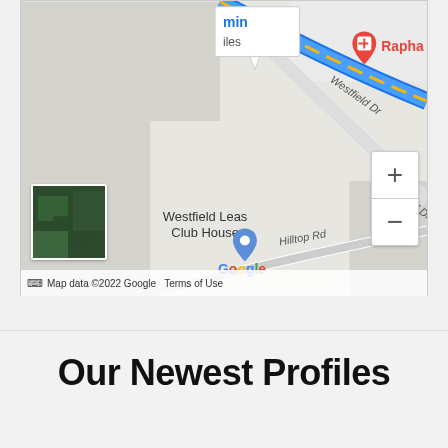[Figure (map): Google Maps screenshot showing Rapha Dental location near Westfield Leas Club House, with Westfield Dr and Hilltop Rd visible. A blue route line and zoom controls are shown. Map data ©2022 Google.]
Our Newest Profiles